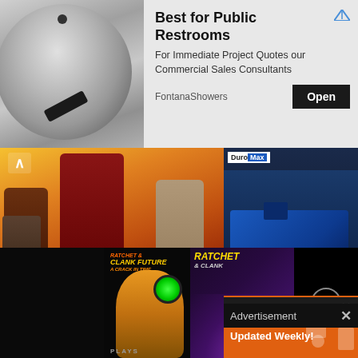[Figure (screenshot): Top advertisement banner for FontanaShowers. Shows chrome fixture image on left, title 'Best for Public Restrooms' with arrow ad icon, description text, Open button, and FontanaShowers source label.]
Best for Public Restrooms
For Immediate Project Quotes our Commercial Sales Consultants
FontanaShowers
[Figure (screenshot): Yakuza: Like a Dragon game artwork showing anime-style characters on orange/red background]
Yakuza: Like a Dragon - Best Business Management...
[Figure (screenshot): DuroMax generator product image on dark blue background with DuroMax logo]
[Figure (screenshot): Advertisement overlay panel with orange background showing 'Most Popular Products' and 'Updated Weekly!' text with shopping icons]
Advertisement
Most Popular Products
Updated Weekly!
[Figure (screenshot): Bottom video strip showing Ratchet & Clank Future: A Crack in Time and Ratchet & Clank game covers with a play button in the center. Includes PLAYS label and close circle button.]